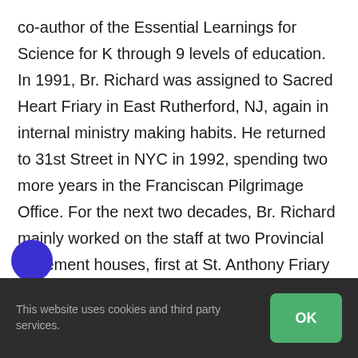co-author of the Essential Learnings for Science for K through 9 levels of education. In 1991, Br. Richard was assigned to Sacred Heart Friary in East Rutherford, NJ, again in internal ministry making habits. He returned to 31st Street in NYC in 1992, spending two more years in the Franciscan Pilgrimage Office. For the next two decades, Br. Richard mainly worked on the staff at two Provincial retirement houses, first at St. Anthony Friary in St. Petersburg, FL. until 2008, when he moved to St. Anthony Residence in Boston, MA. In both places, Br. Richard was very attentive to the needs of the sick and retired friars. He officially
This website uses cookies and third party services.